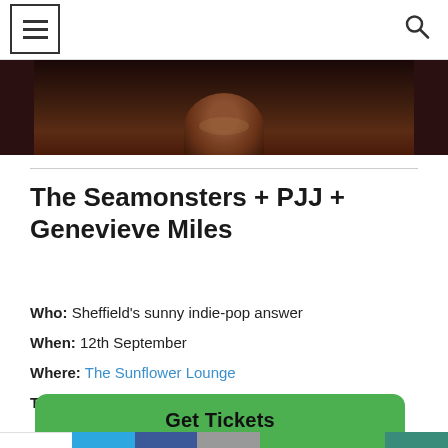Menu / Search header bar
[Figure (photo): Dark toned photo strip showing a person partially visible, dark reddish-brown background, cropped to show bottom portion of face/neck area]
The Seamonsters + PJJ + Genevieve Miles
Who: Sheffield's sunny indie-pop answer
When: 12th September
Where: The Sunflower Lounge
Tickets: £6
Get Tickets
2 Shares | Twitter | Facebook | Email | WhatsApp | SMS | Other